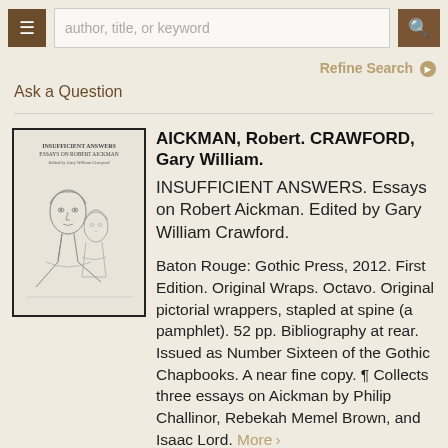author, title, or keyword (search bar)
Refine Search
Ask a Question
[Figure (illustration): Book cover illustration for 'Insufficient Answers: Essays on Robert Aickman edited by Gary William Crawford', showing a pencil sketch of a man and woman in close proximity]
AICKMAN, Robert. CRAWFORD, Gary William. INSUFFICIENT ANSWERS. Essays on Robert Aickman. Edited by Gary William Crawford. Baton Rouge: Gothic Press, 2012. First Edition. Original Wraps. Octavo. Original pictorial wrappers, stapled at spine (a pamphlet). 52 pp. Bibliography at rear. Issued as Number Sixteen of the Gothic Chapbooks. A near fine copy. ¶ Collects three essays on Aickman by Philip Challinor, Rebekah Memel Brown, and Isaac Lord. More >